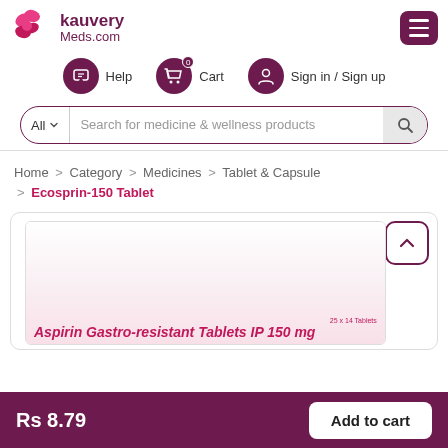[Figure (logo): KauveryMeds.com logo with pink flower icon and dark purple text]
Help   Cart   Sign in / Sign up
All  Search for medicine & wellness products
Home > Category > Medicines > Tablet & Capsule > Ecosprin-150 Tablet
[Figure (photo): Product image of Aspirin Gastro-resistant Tablets IP 150 mg — Ecosprin-150 Tablet packaging]
Rs 8.79
Add to cart